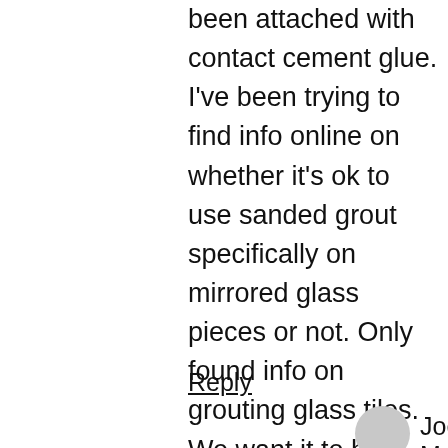been attached with contact cement glue. I've been trying to find info online on whether it's ok to use sanded grout specifically on mirrored glass pieces or not. Only found info on grouting glass tiles. We want it to hold strongly with tensile as it is on an entire wall, but not sure if sanded grout will scratch the face of the mirrored glass. If sanded is ok, is there a specific sand grain size or anything that we should purchase? Thanks much!
Reply
Joe Moorman says: